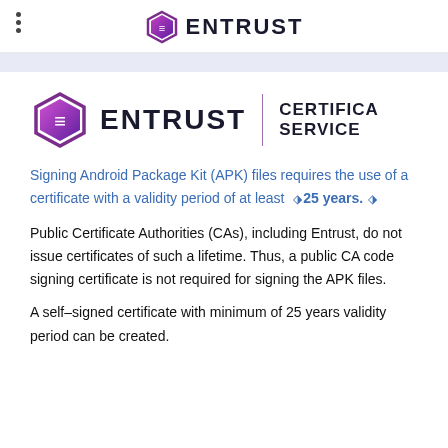ENTRUST
[Figure (logo): Entrust hexagon logo with text ENTRUST and CERTIFICATE SERVICES separated by a vertical purple line]
Signing Android Package Kit (APK) files requires the use of a certificate with a validity period of at least 25 years.
Public Certificate Authorities (CAs), including Entrust, do not issue certificates of such a lifetime. Thus, a public CA code signing certificate is not required for signing the APK files.
A self–signed certificate with minimum of 25 years validity period can be created.